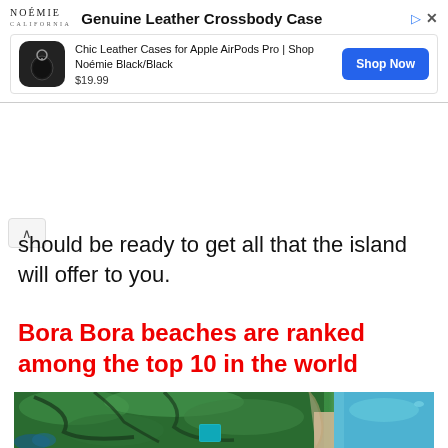[Figure (screenshot): Advertisement banner for Noémie California: Genuine Leather Crossbody Case. Shows product image of black AirPods case, text 'Chic Leather Cases for Apple AirPods Pro | Shop Noémie Black/Black', price $19.99, and Shop Now button.]
should be ready to get all that the island will offer to you.
Bora Bora beaches are ranked among the top 10 in the world
[Figure (photo): Aerial view of Bora Bora island showing lush green tropical vegetation, winding paths, a swimming pool, sandy beach, and turquoise ocean water on the right side.]